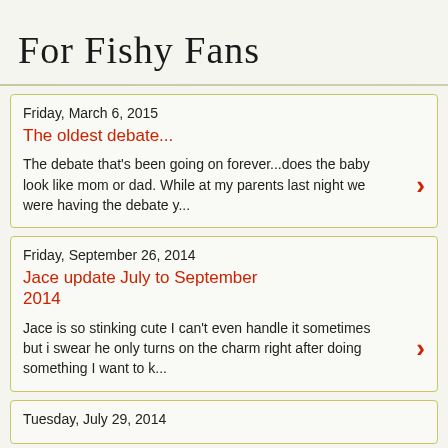For Fishy Fans
Friday, March 6, 2015
The oldest debate...
The debate that's been going on forever...does the baby look like mom or dad. While at my parents last night we were having the debate y...
Friday, September 26, 2014
Jace update July to September 2014
Jace is so stinking cute I can't even handle it sometimes but i swear he only turns on the charm right after doing something I want to k...
Tuesday, July 29, 2014